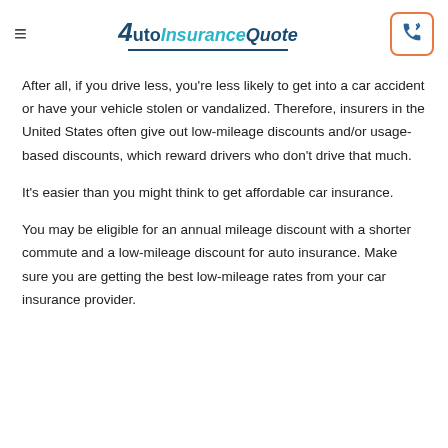AutoInsuranceQuote
After all, if you drive less, you're less likely to get into a car accident or have your vehicle stolen or vandalized. Therefore, insurers in the United States often give out low-mileage discounts and/or usage-based discounts, which reward drivers who don't drive that much.
It's easier than you might think to get affordable car insurance.
You may be eligible for an annual mileage discount with a shorter commute and a low-mileage discount for auto insurance. Make sure you are getting the best low-mileage rates from your car insurance provider.